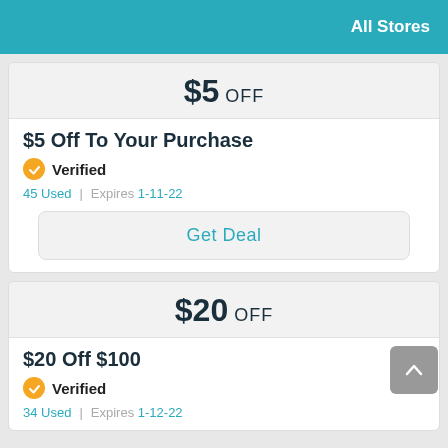All Stores
$5 OFF
$5 Off To Your Purchase
Verified
45 Used | Expires 1-11-22
Get Deal
$20 OFF
$20 Off $100
Verified
34 Used | Expires 1-12-22